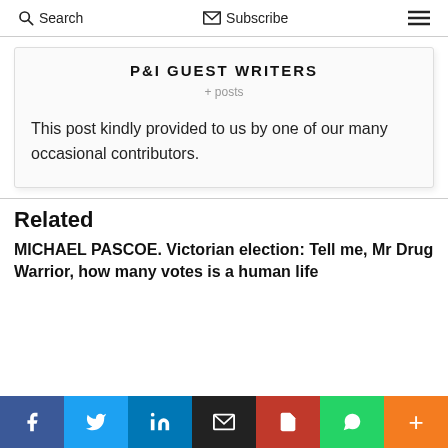Search   Subscribe
P&I GUEST WRITERS
+ posts
This post kindly provided to us by one of our many occasional contributors.
Related
MICHAEL PASCOE. Victorian election: Tell me, Mr Drug Warrior, how many votes is a human life worth? (New Daily)